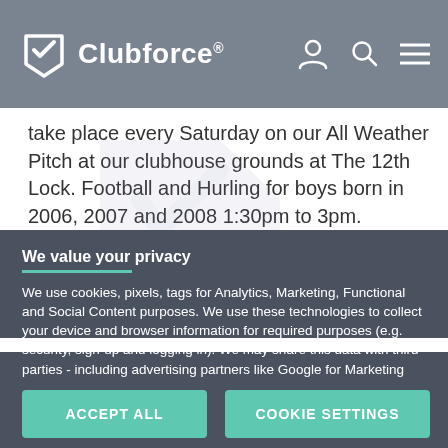Clubforce®
take place every Saturday on our All Weather Pitch at our clubhouse grounds at The 12th Lock. Football and Hurling for boys born in 2006, 2007 and 2008 1:30pm to 3pm. Football for girls born 2005, 2006, 2007, 1pm to 2:05pm and Gaelic football under 215 to 3:00
We value your privacy
We use cookies, pixels, tags for Analytics, Marketing, Functional and Social Content purposes. We use these technologies to collect your device and browser information for required purposes (e.g. security, sign-up and logging in). We may share this data with third parties - including advertising partners like Google for Marketing purposes. By clicking "Accept All", you consent to the use of ALL the cookies. Please visit our for more information.
ACCEPT ALL
COOKIE SETTINGS